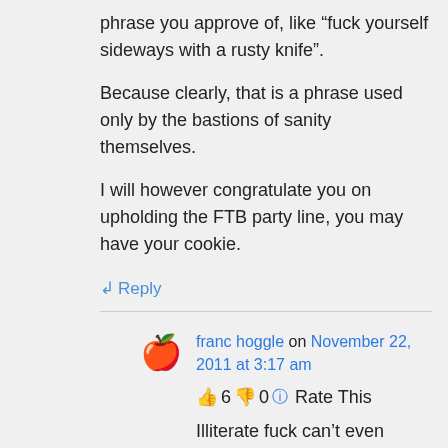phrase you approve of, like “fuck yourself sideways with a rusty knife”.
Because clearly, that is a phrase used only by the bastions of sanity themselves.
I will however congratulate you on upholding the FTB party line, you may have your cookie.
↪ Reply
franc hoggle on November 22, 2011 at 3:17 am
👍 6 👎 0 ℹ Rate This
Illiterate fuck can’t even string a